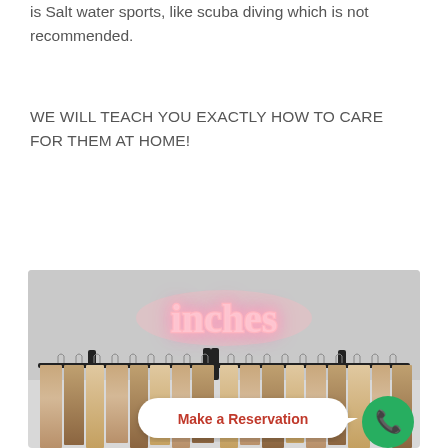is Salt water sports, like scuba diving which is not recommended.
WE WILL TEACH YOU EXACTLY HOW TO CARE FOR THEM AT HOME!
[Figure (photo): Interior photo of a hair salon showing a rack of hair extensions hanging on hangers, with a pink neon sign reading 'inches' on the wall above, and a 'Make a Reservation' button overlay with a green phone button.]